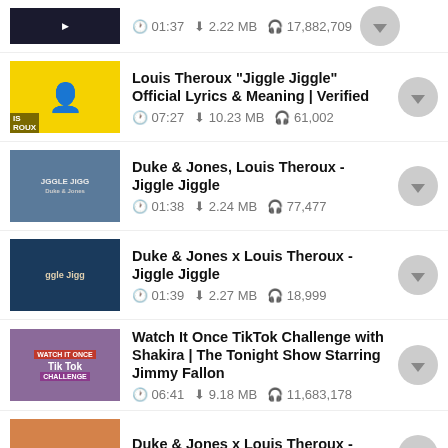01:37 | 2.22 MB | 17,882,709
Louis Theroux "Jiggle Jiggle" Official Lyrics & Meaning | Verified | 07:27 | 10.23 MB | 61,002
Duke & Jones, Louis Theroux - Jiggle Jiggle | 01:38 | 2.24 MB | 77,477
Duke & Jones x Louis Theroux - Jiggle Jiggle | 01:39 | 2.27 MB | 18,999
Watch It Once TikTok Challenge with Shakira | The Tonight Show Starring Jimmy Fallon | 06:41 | 9.18 MB | 11,683,178
Duke & Jones x Louis Theroux - Jiggle Jiggle